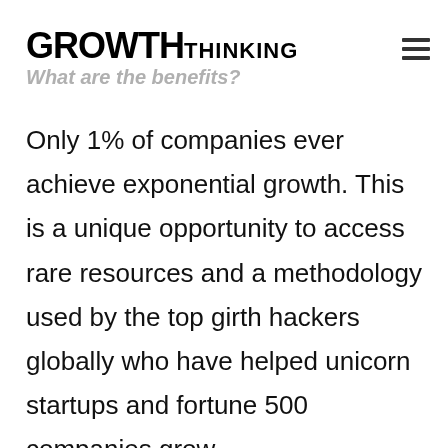GROWTH THINKING
What are the benefits?
Only 1% of companies ever achieve exponential growth. This is a unique opportunity to access rare resources and a methodology used by the top girth hackers globally who have helped unicorn startups and fortune 500 companies grow.